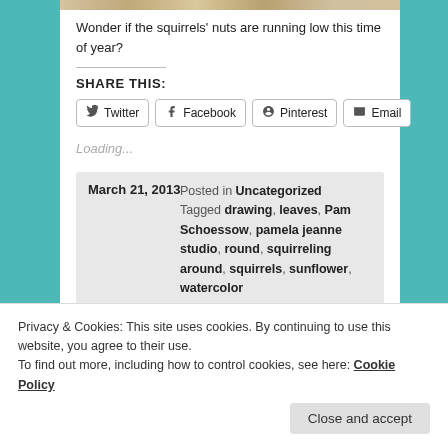[Figure (photo): Partial image strip at top of content area]
Wonder if the squirrels' nuts are running low this time of year?
SHARE THIS:
Twitter  Facebook  Pinterest  Email
Loading...
March 21, 2013  Posted in Uncategorized  Tagged drawing, leaves, Pam Schoessow, pamela jeanne studio, round, squirreling around, squirrels, sunflower, watercolor
Privacy & Cookies: This site uses cookies. By continuing to use this website, you agree to their use.
To find out more, including how to control cookies, see here: Cookie Policy